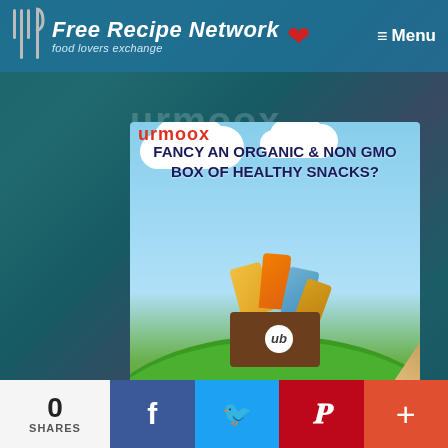Free Recipe Network — food lovers exchange  Menu
[Figure (screenshot): Advertisement for Urmoox organic and non-GMO healthy snack box subscription service. Shows a cartoon snack box on a green hill with sky background. Text reads: FANCY AN ORGANIC & NON GMO BOX OF HEALTHY SNACKS? Classic • Gluten-Free Vegan • Diet. Page-peel effect reveals product images in corner.]
0 SHARES
[Figure (infographic): Social sharing bar with Facebook, Twitter, Pinterest, and plus buttons]